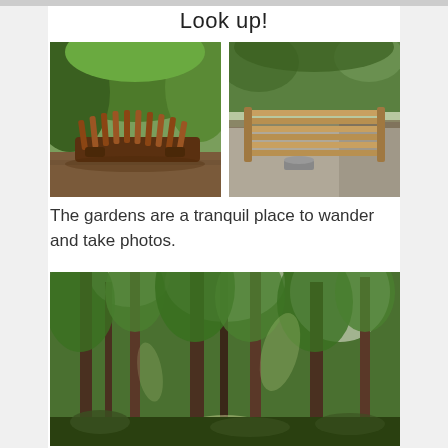Look up!
[Figure (photo): Two outdoor wooden sculptural benches with slatted design in a garden/park setting]
The gardens are a tranquil place to wander and take photos.
[Figure (photo): Tall forest trees with dappled sunlight filtering through the canopy]